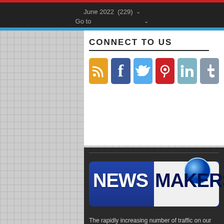June 2022  (229)  Go to
CONNECT TO US
[Figure (infographic): Social media icons: RSS (orange), Facebook (blue), Twitter (light blue), Pinterest (red), LinkedIn (teal), Tumblr (grey)]
[Figure (logo): NewsMakers logo with blue background and globe icon]
The rapidly increasing number of traffic on our news website is the indication that this website comes among Pakistan's favorite online news websites when it comes to publishing domestic, regional, and international news regarding Pakistan. The website publishes news from all the sectors that means that it has the news for the interest of all kinds of people and age groups.